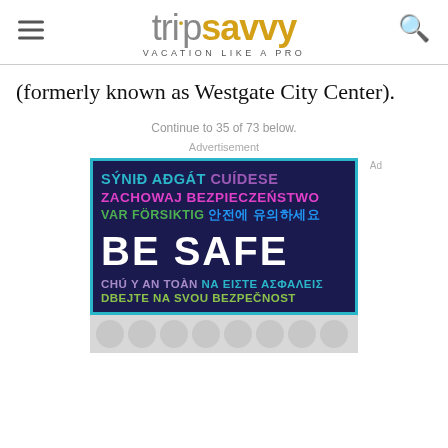tripsavvy VACATION LIKE A PRO
(formerly known as Westgate City Center).
Continue to 35 of 73 below.
Advertisement
[Figure (illustration): Advertisement banner with multilingual 'BE SAFE' message on dark navy background with teal border. Text in multiple languages: SÝNIÐ AÐGÁT (teal), CUÍDESE (purple), ZACHOWAJ BEZPIECZEŃSTWO (pink), VAR FÖRSIKTIG (green), Korean text (blue), BE SAFE (white large), CHÚ Ý AN TOÀN (lavender), ΝΑ ΕΙΣΤΕ ΑΣΦΑΛΕΙΣ (teal), DBEJTE NA SVOU BEZPEČNOST (green). Bottom section with gray circular pattern.]